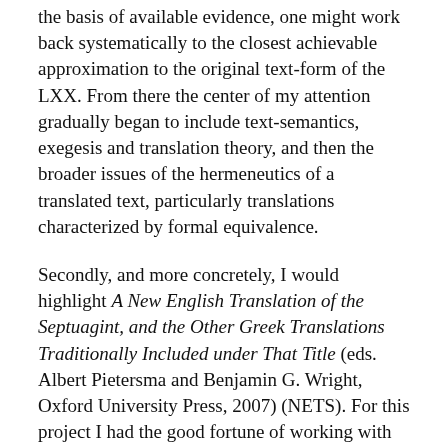the basis of available evidence, one might work back systematically to the closest achievable approximation to the original text-form of the LXX. From there the center of my attention gradually began to include text-semantics, exegesis and translation theory, and then the broader issues of the hermeneutics of a translated text, particularly translations characterized by formal equivalence.
Secondly, and more concretely, I would highlight A New English Translation of the Septuagint, and the Other Greek Translations Traditionally Included under That Title (eds. Albert Pietersma and Benjamin G. Wright, Oxford University Press, 2007) (NETS). For this project I had the good fortune of working with the following graduate students: Cameron Boyd-Taylor, Paul McLean, Tony Michael, Marc Saunders, Jannes Smith, Mark Whiting and John William Williams, to